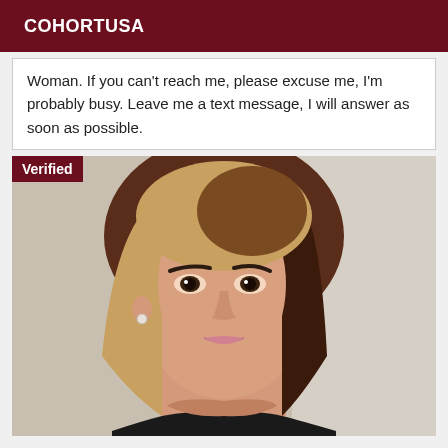COHORTUSA
Woman. If you can't reach me, please excuse me, I'm probably busy. Leave me a text message, I will answer as soon as possible.
[Figure (photo): Photo of a young woman with straight blonde hair and dark eyebrows, wearing a dark top, with a 'Verified' badge overlay in the top-left corner.]